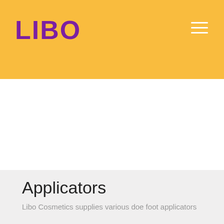LIBO
Applicators
Libo Cosmetics supplies various doe foot applicators